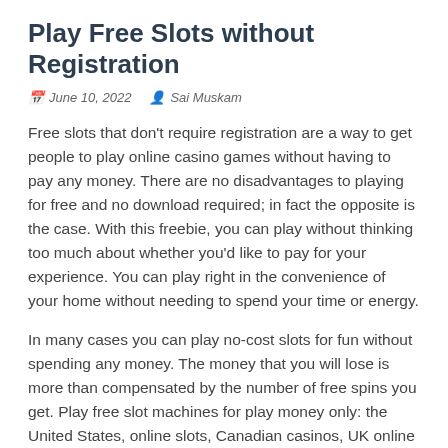Play Free Slots without Registration
June 10, 2022   Sai Muskam
Free slots that don't require registration are a way to get people to play online casino games without having to pay any money. There are no disadvantages to playing for free and no download required; in fact the opposite is the case. With this freebie, you can play without thinking too much about whether you'd like to pay for your experience. You can play right in the convenience of your home without needing to spend your time or energy.
In many cases you can play no-cost slots for fun without spending any money. The money that you will lose is more than compensated by the number of free spins you get. Play free slot machines for play money only: the United States, online slots, Canadian casinos, UK online slots, Australian and New Zealand spins, and